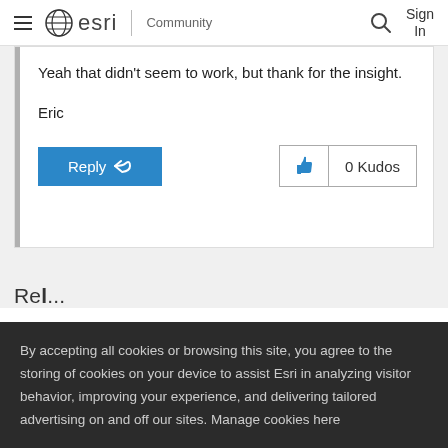≡  esri | Community   🔍  Sign In
Yeah that didn't seem to work, but thank for the insight.

Eric
Reply
0 Kudos
Re...
By accepting all cookies or browsing this site, you agree to the storing of cookies on your device to assist Esri in analyzing visitor behavior, improving your experience, and delivering tailored advertising on and off our sites. Manage cookies here